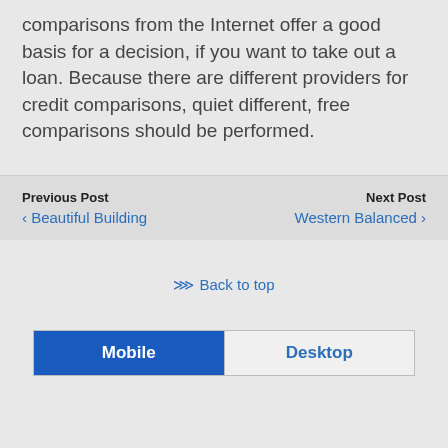comparisons from the Internet offer a good basis for a decision, if you want to take out a loan. Because there are different providers for credit comparisons, quiet different, free comparisons should be performed.
Previous Post
‹ Beautiful Building
Next Post
Western Balanced ›
⇈ Back to top
Mobile    Desktop